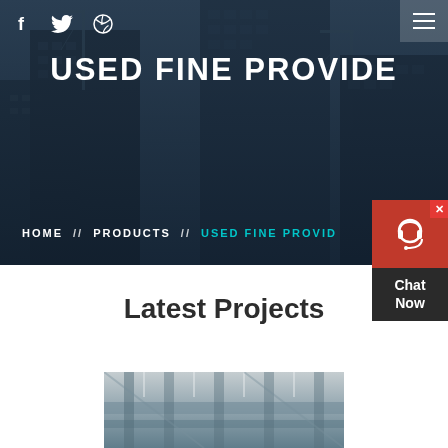[Figure (photo): Hero banner showing construction site with cranes and city buildings in dark blue overlay]
f  twitter  dribbble icon  hamburger menu
USED FINE PROVIDE
HOME // PRODUCTS // USED FINE PROVIDE
[Figure (other): Chat Now widget with red background, headset icon, and dark label]
Latest Projects
[Figure (photo): Industrial construction interior photo showing machinery and scaffolding]